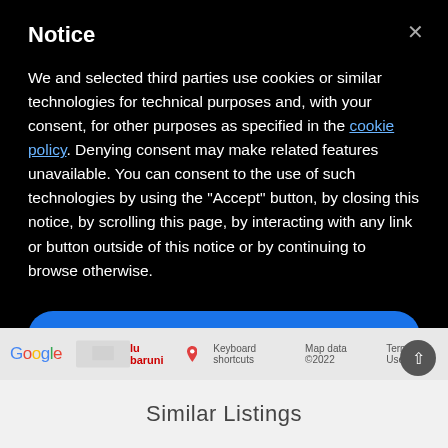Notice
We and selected third parties use cookies or similar technologies for technical purposes and, with your consent, for other purposes as specified in the cookie policy. Denying consent may make related features unavailable. You can consent to the use of such technologies by using the "Accept" button, by closing this notice, by scrolling this page, by interacting with any link or button outside of this notice or by continuing to browse otherwise.
Accept
Learn more and customize
[Figure (screenshot): Google Maps bar showing Google logo, map thumbnail, location pin for 'lu baruni', keyboard shortcuts, Map data ©2022, Terms of Use, and a scroll-to-top button]
Similar Listings